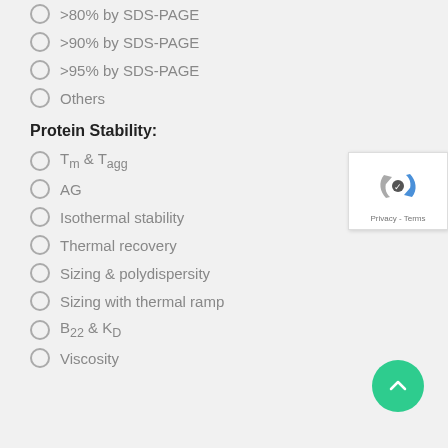>80% by SDS-PAGE
>90% by SDS-PAGE
>95% by SDS-PAGE
Others
Protein Stability:
Tm & Tagg
AG
Isothermal stability
Thermal recovery
Sizing & polydispersity
Sizing with thermal ramp
B22 & KD
Viscosity
[Figure (other): reCAPTCHA widget with rotating arrows logo and Privacy - Terms text]
[Figure (other): Green circular scroll-to-top button with upward chevron arrow]